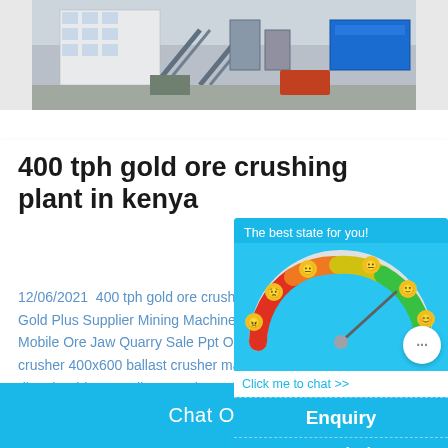[Figure (photo): Industrial mining/crushing plant facility with multi-story white building and heavy equipment conveyors, machinery, and a blue container visible]
400 tph gold ore crushing plant in kenya
12/06/2021  400 tph gold ore crushing pla... Gold Plus Supplier Mining Machine Pell... Mobile Ore Jaw Quarry Sale Ppt Old ISO... crusher 400x600 ballast crusher machine ... directly China supplier 1 3 tph small balla...
[Figure (infographic): Chat popup widget with gauge/speedometer showing best state indicator, emoji faces, chat bubble button labeled 'Click me to chat >>', Enquiry section, and cywaitml@gmail.com contact]
Chat Online